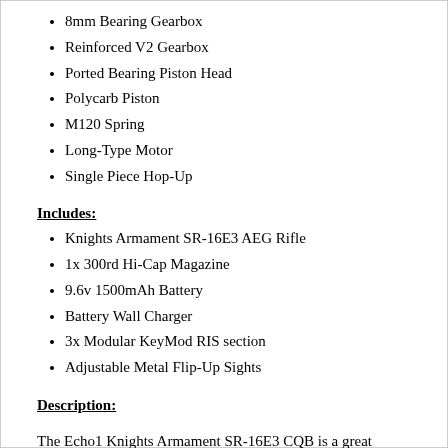8mm Bearing Gearbox
Reinforced V2 Gearbox
Ported Bearing Piston Head
Polycarb Piston
M120 Spring
Long-Type Motor
Single Piece Hop-Up
Includes:
Knights Armament SR-16E3 AEG Rifle
1x 300rd Hi-Cap Magazine
9.6v 1500mAh Battery
Battery Wall Charger
3x Modular KeyMod RIS section
Adjustable Metal Flip-Up Sights
Description:
The Echo1 Knights Armament SR-16E3 CQB is a great iteration on a lightweight and modular carbine design. These concepts are reinforced by the fact that this rifle has a highly reinforced nylon fiber body, and lightweight metal KeyMod RIS system. This keeps the guns weight down while preserving the realistic look and feel. The KeyMod design allows for great modularity and weight conservation, and can be customized with grips, lights, and lasers easily with the included three